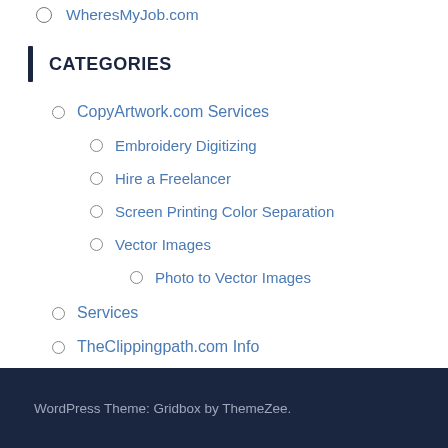WheresMyJob.com
CATEGORIES
CopyArtwork.com Services
Embroidery Digitizing
Hire a Freelancer
Screen Printing Color Separation
Vector Images
Photo to Vector Images
Services
TheClippingpath.com Info
VectorSquad Company News
WordPress Theme: Gridbox by ThemeZee.